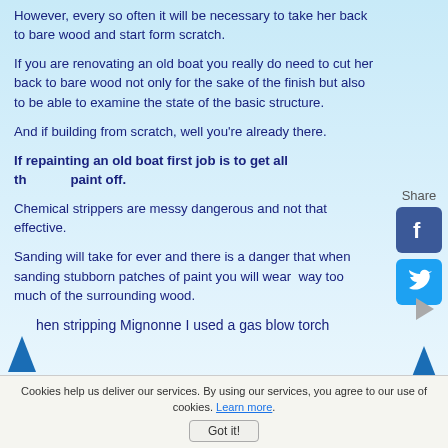However, every so often it will be necessary to take her back to bare wood and start form scratch.
If you are renovating an old boat you really do need to cut her back to bare wood not only for the sake of the finish but also to be able to examine the state of the basic structure.
And if building from scratch, well you're already there.
If repainting an old boat first job is to get all th paint off.
Chemical strippers are messy dangerous and not that effective.
Sanding will take for ever and there is a danger that when sanding stubborn patches of paint you will wear way too much of the surrounding wood.
hen stripping Mignonne I used a gas blow torch
Cookies help us deliver our services. By using our services, you agree to our use of cookies. Learn more. Got it!